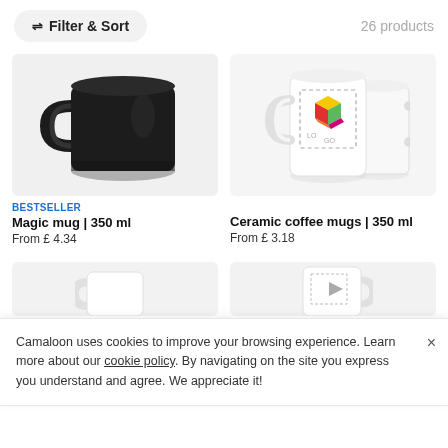Filter & Sort   26 products
[Figure (photo): Black magic mug, 350ml, glossy finish with handle visible on left side, on light gray background]
[Figure (photo): White ceramic coffee mug, 350ml, with colorful logo placeholder printed on it, showing two mugs overlapping on light gray background]
BESTSELLER
Magic mug | 350 ml
From £ 4.34
Ceramic coffee mugs | 350 ml
From £ 3.18
[Figure (photo): Partially visible product image at bottom left, appears to be a white mug]
[Figure (photo): Partially visible product image at bottom right, appears to be a mug with logo]
Camaloon uses cookies to improve your browsing experience. Learn more about our cookie policy. By navigating on the site you express you understand and agree. We appreciate it!